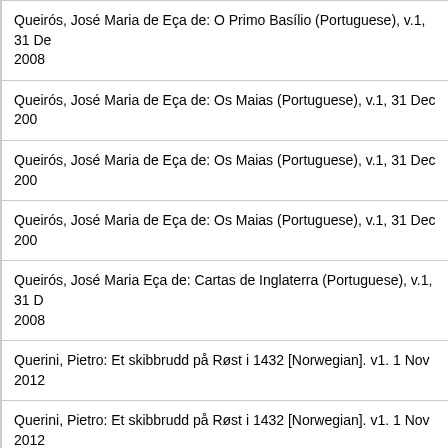Queirós, José Maria de Eça de: O Primo Basílio (Portuguese), v.1, 31 Dec 2008
Queirós, José Maria de Eça de: Os Maias (Portuguese), v.1, 31 Dec 2008
Queirós, José Maria de Eça de: Os Maias (Portuguese), v.1, 31 Dec 2008
Queirós, José Maria de Eça de: Os Maias (Portuguese), v.1, 31 Dec 2008
Queirós, José Maria Eça de: Cartas de Inglaterra (Portuguese), v.1, 31 Dec 2008
Querini, Pietro: Et skibbrudd på Røst i 1432 [Norwegian]. v1. 1 Nov 2012
Querini, Pietro: Et skibbrudd på Røst i 1432 [Norwegian]. v1. 1 Nov 2012
Quigley, Dorothy: 'What Dress Makes of Us (1897), v.1, 21 Dec 2007
Quigley, Dorothy: 'What Dress Makes of Us (1897), v.1, 24 June 2007
Quigley, Dorothy: 'What Dress Makes of Us (1897), v.1, IMP, 21 Dec 2007